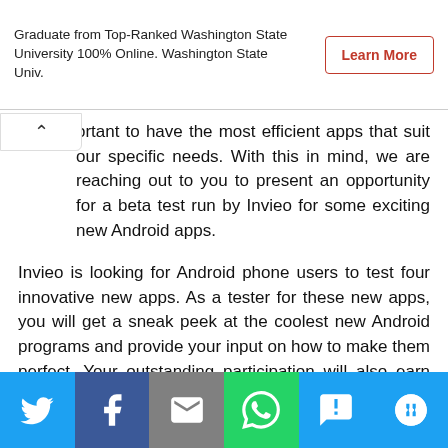Graduate from Top-Ranked Washington State University 100% Online. Washington State Univ.
Learn More
ortant to have the most efficient apps that suit our specific needs. With this in mind, we are reaching out to you to present an opportunity for a beta test run by Invieo for some exciting new Android apps.
Invieo is looking for Android phone users to test four innovative new apps. As a tester for these new apps, you will get a sneak peek at the coolest new Android programs and provide your input on how to make them perfect. Your outstanding participation will also earn you a chance to walk away with free apps, significant discounts, and possibly more from Invieo!
[Figure (infographic): Social sharing bar with Twitter, Facebook, Email, WhatsApp, SMS, and More buttons]